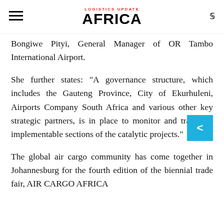LOGISTICS UPDATE AFRICA
Bongiwe Pityi, General Manager of OR Tambo International Airport.
She further states: "A governance structure, which includes the Gauteng Province, City of Ekurhuleni, Airports Company South Africa and various other key strategic partners, is in place to monitor and track the implementable sections of the catalytic projects."
The global air cargo community has come together in Johannesburg for the fourth edition of the biennial trade fair, AIR CARGO AFRICA